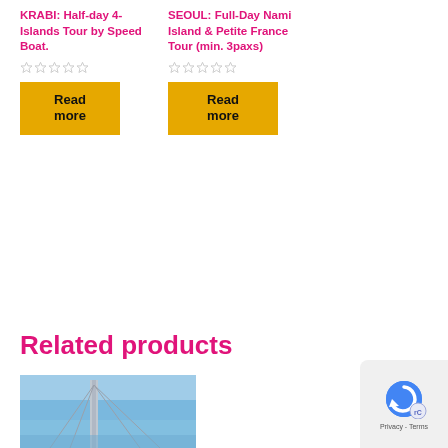KRABI: Half-day 4-Islands Tour by Speed Boat.
SEOUL: Full-Day Nami Island & Petite France Tour (min. 3paxs)
Related products
[Figure (photo): Partial view of a bridge or tall structure against a blue sky, cropped at the bottom of the page]